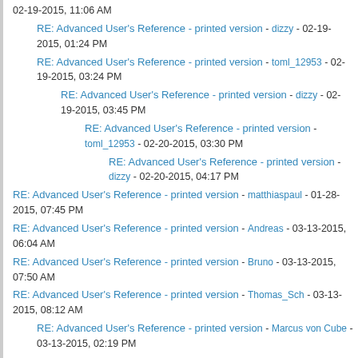RE: Advanced User's Reference - printed version - dizzy - 02-19-2015, 11:06 AM
RE: Advanced User's Reference - printed version - dizzy - 02-19-2015, 01:24 PM
RE: Advanced User's Reference - printed version - toml_12953 - 02-19-2015, 03:24 PM
RE: Advanced User's Reference - printed version - dizzy - 02-19-2015, 03:45 PM
RE: Advanced User's Reference - printed version - toml_12953 - 02-20-2015, 03:30 PM
RE: Advanced User's Reference - printed version - dizzy - 02-20-2015, 04:17 PM
RE: Advanced User's Reference - printed version - matthiaspaul - 01-28-2015, 07:45 PM
RE: Advanced User's Reference - printed version - Andreas - 03-13-2015, 06:04 AM
RE: Advanced User's Reference - printed version - Bruno - 03-13-2015, 07:50 AM
RE: Advanced User's Reference - printed version - Thomas_Sch - 03-13-2015, 08:12 AM
RE: Advanced User's Reference - printed version - Marcus von Cube - 03-13-2015, 02:19 PM
RE: Advanced User's Reference - printed version - Helix - 03-14-2015, 02:13 PM
RE: Advanced User's Reference - printed version - Blendama - 03-14-2015, 07:36 PM
RE: Advanced User's Reference - printed version - spinkham - 03-15-2015, 01:09 AM